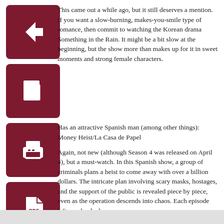This came out a while ago, but it still deserves a mention. If you want a slow-burning, makes-you-smile type of romance, then commit to watching the Korean drama Something in the Rain. It might be a bit slow at the beginning, but the show more than makes up for it in sweet moments and strong female characters.
Has an attractive Spanish man (among other things): Money Heist/La Casa de Papel
Again, not new (although Season 4 was released on April 4), but a must-watch. In this Spanish show, a group of criminals plans a heist to come away with over a billion dollars. The intricate plan involving scary masks, hostages, and the support of the public is revealed piece by piece, even as the operation descends into chaos. Each episode left me shocked.